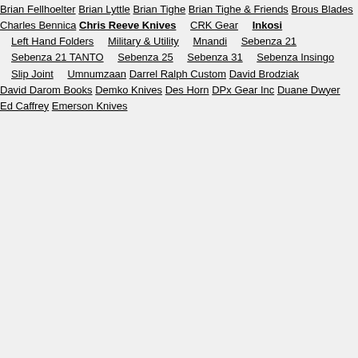Brian Fellhoelter
Brian Lyttle
Brian Tighe
Brian Tighe & Friends
Brous Blades
Charles Bennica
Chris Reeve Knives
CRK Gear
Inkosi
Left Hand Folders
Military & Utility
Mnandi
Sebenza 21
Sebenza 21 TANTO
Sebenza 25
Sebenza 31
Sebenza Insingo
Slip Joint
Umnumzaan
Darrel Ralph Custom
David Brodziak
David Darom Books
Demko Knives
Des Horn
DPx Gear Inc
Duane Dwyer
Ed Caffrey
Emerson Knives